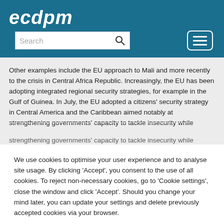ecdpm
Other examples include the EU approach to Mali and more recently to the crisis in Central Africa Republic. Increasingly, the EU has been adopting integrated regional security strategies, for example in the Gulf of Guinea. In July, the EU adopted a citizens' security strategy in Central America and the Caribbean aimed notably at strengthening governments' capacity to tackle insecurity while
We use cookies to optimise your user experience and to analyse site usage. By clicking 'Accept', you consent to the use of all cookies. To reject non-necessary cookies, go to 'Cookie settings', close the window and click 'Accept'. Should you change your mind later, you can update your settings and delete previously accepted cookies via your browser.
Cookie settings  Accept